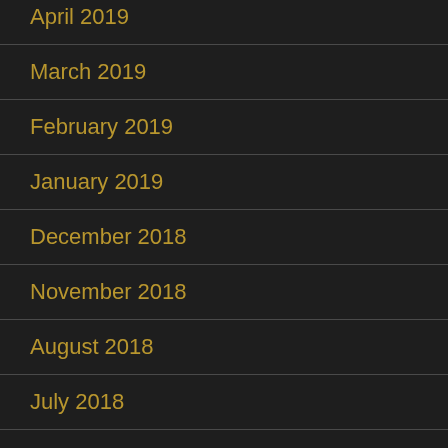April 2019
March 2019
February 2019
January 2019
December 2018
November 2018
August 2018
July 2018
June 2018